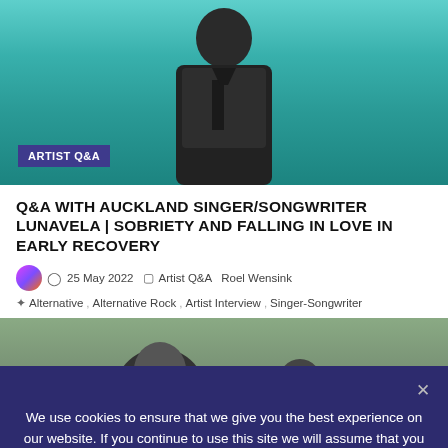[Figure (photo): Photo of a man standing against a teal/turquoise corrugated metal background, wearing a dark jacket. Overlaid with an 'ARTIST Q&A' badge in the bottom-left corner.]
Q&A WITH AUCKLAND SINGER/SONGWRITER LUNAVELA | SOBRIETY AND FALLING IN LOVE IN EARLY RECOVERY
25 May 2022   Artist Q&A   Roel Wensink
Alternative , Alternative Rock , Artist Interview , Singer-Songwriter
[Figure (photo): Partial photo showing two or more people outdoors, cropped at the bottom by a cookie consent overlay.]
We use cookies to ensure that we give you the best experience on our website. If you continue to use this site we will assume that you are happy with it.